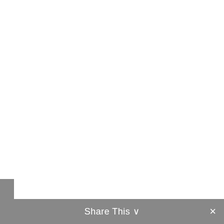ors than k Jackson County Schools
Share This ∨  ×